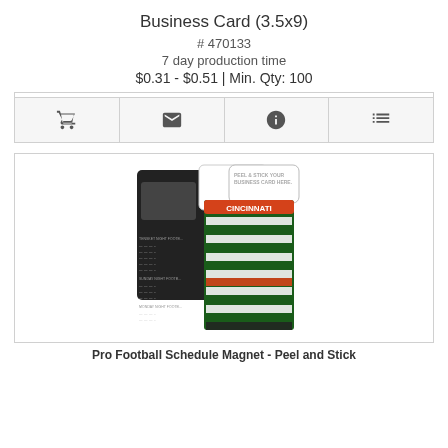Business Card (3.5x9)
# 470133
7 day production time
$0.31 - $0.51 | Min. Qty: 100
[Figure (infographic): Four icon buttons: shopping cart, email/envelope, info (i), and list/menu icons in a horizontal bar]
[Figure (photo): Product photo showing a Pro Football Schedule Magnet - Peel and Stick Business Card (3.5x9), displaying a Cincinnati football schedule magnet with a peel-and-stick business card area at top]
Pro Football Schedule Magnet - Peel and Stick